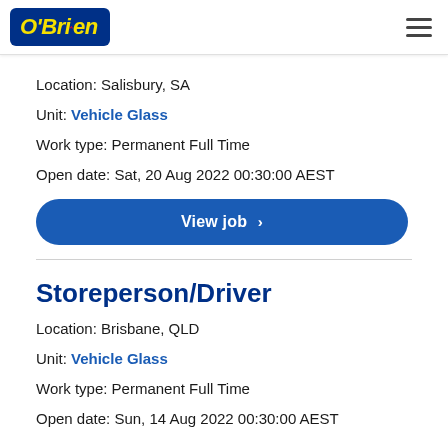O'Brien (logo) | hamburger menu
Location: Salisbury, SA
Unit: Vehicle Glass
Work type: Permanent Full Time
Open date: Sat, 20 Aug 2022 00:30:00 AEST
View job >
Storeperson/Driver
Location: Brisbane, QLD
Unit: Vehicle Glass
Work type: Permanent Full Time
Open date: Sun, 14 Aug 2022 00:30:00 AEST